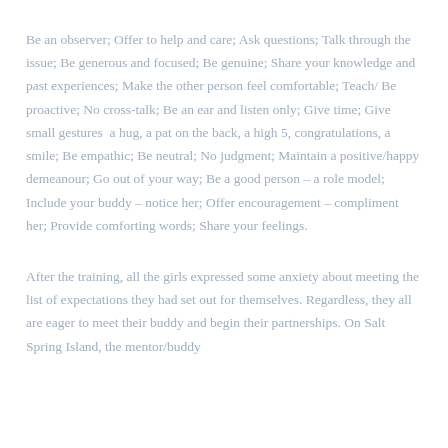Be an observer; Offer to help and care; Ask questions; Talk through the issue; Be generous and focused; Be genuine; Share your knowledge and past experiences; Make the other person feel comfortable; Teach/ Be proactive; No cross-talk; Be an ear and listen only; Give time; Give small gestures  a hug, a pat on the back, a high 5, congratulations, a smile; Be empathic; Be neutral; No judgment; Maintain a positive/happy demeanour; Go out of your way; Be a good person – a role model; Include your buddy – notice her; Offer encouragement – compliment her; Provide comforting words; Share your feelings.
After the training, all the girls expressed some anxiety about meeting the list of expectations they had set out for themselves. Regardless, they all are eager to meet their buddy and begin their partnerships. On Salt Spring Island, the mentor/buddy